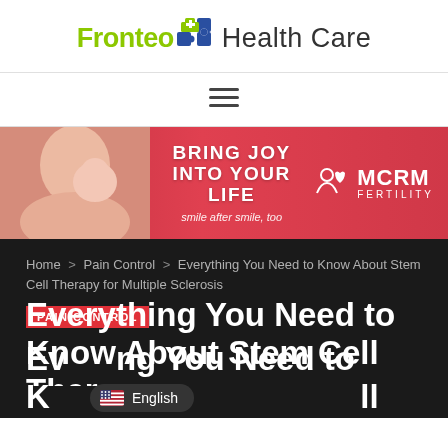[Figure (logo): Fronteo Health Care logo with puzzle piece icon in blue and green]
[Figure (other): Hamburger menu icon (three horizontal lines)]
[Figure (photo): MCRM Fertility advertisement banner: photo of mother and baby on pink/red background with text BRING JOY INTO YOUR LIFE smile after smile, too and MCRM FERTILITY logo]
Home > Pain Control > Everything You Need to Know About Stem Cell Therapy for Multiple Sclerosis
PAIN CONTROL
Everything You Need to Know About Stem Cell Therapy for Multiple Sclerosis